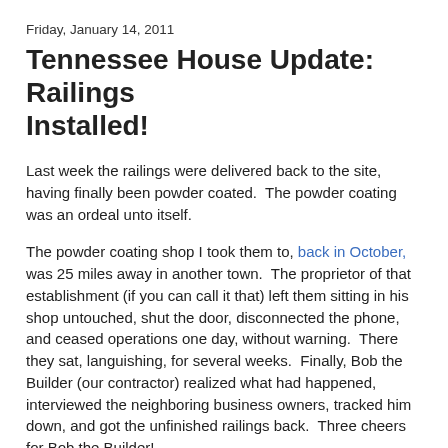Friday, January 14, 2011
Tennessee House Update: Railings Installed!
Last week the railings were delivered back to the site, having finally been powder coated.  The powder coating was an ordeal unto itself.
The powder coating shop I took them to, back in October, was 25 miles away in another town.  The proprietor of that establishment (if you can call it that) left them sitting in his shop untouched, shut the door, disconnected the phone, and ceased operations one day, without warning.  There they sat, languishing, for several weeks.  Finally, Bob the Builder (our contractor) realized what had happened, interviewed the neighboring business owners, tracked him down, and got the unfinished railings back.  Three cheers for Bob the Builder!
A couple weeks ago, we found a reputable shop further away in Maryville, Tennessee, and they accepted our railings...